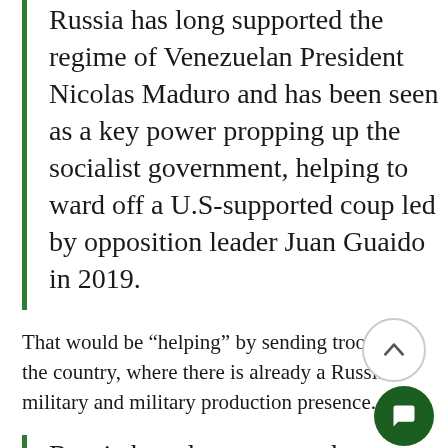Russia has long supported the regime of Venezuelan President Nicolas Maduro and has been seen as a key power propping up the socialist government, helping to ward off a U.S-supported coup led by opposition leader Juan Guaido in 2019.
That would be "helping" by sending troops into the country, where there is already a Russian military and military production presence.
Russia has also supported Venezuela on the military and